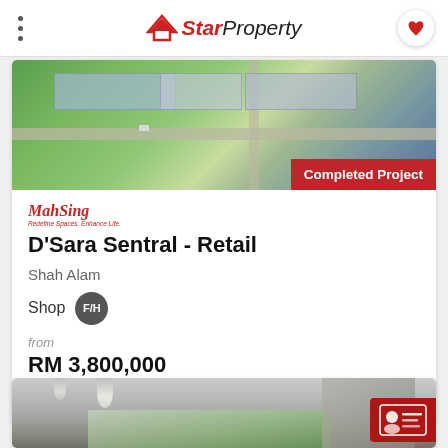StarProperty
[Figure (photo): Aerial view of D'Sara Sentral retail development with 'Completed Project' badge overlay]
MahSing
D'Sara Sentral - Retail
Shah Alam
Shop  F/H
from
RM 3,800,000
[Figure (photo): Interior photo of a modern building lobby/common area with large windows and green trees visible outside]